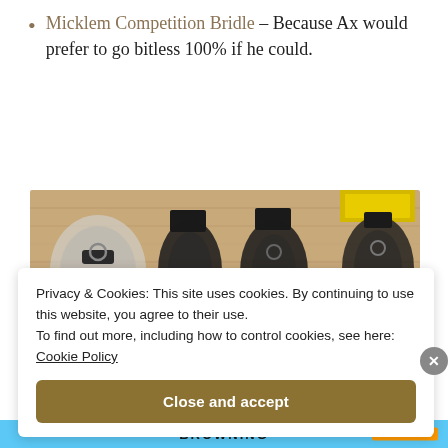Micklem Competition Bridle – Because Ax would prefer to go bitless 100% if he could.
[Figure (photo): Photo of several horse bridles hanging on a wooden wall, viewed from the front. The bridles are black leather with metal hardware. A yellow label is visible in the upper right corner.]
Privacy & Cookies: This site uses cookies. By continuing to use this website, you agree to their use.
To find out more, including how to control cookies, see here: Cookie Policy
Close and accept